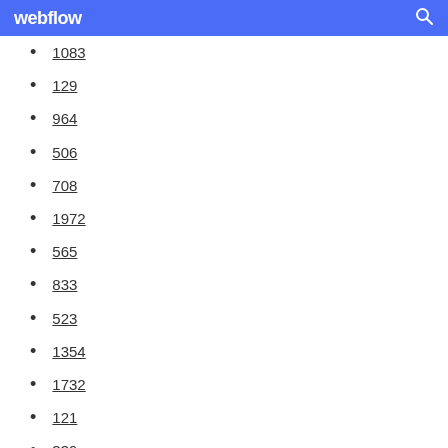webflow
1083
129
964
506
708
1972
565
833
523
1354
1732
121
339